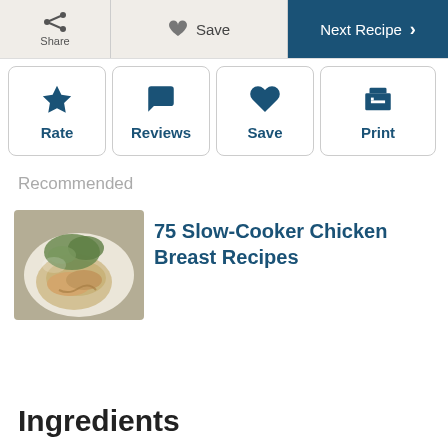Share | Save | Next Recipe
Rate
Reviews
Save
Print
Recommended
[Figure (photo): Photo of slow cooker chicken breast dish on a plate with greens]
75 Slow-Cooker Chicken Breast Recipes
Ingredients